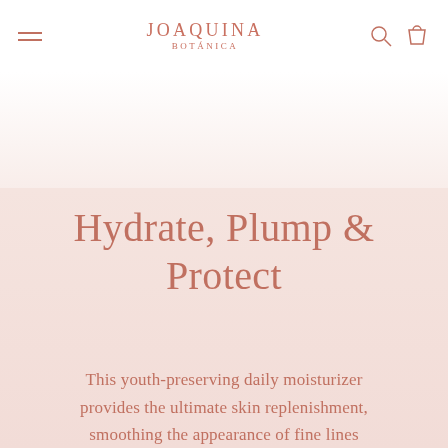JOAQUINA BOTANICA
Hydrate, Plump & Protect
This youth-preserving daily moisturizer provides the ultimate skin replenishment, smoothing the appearance of fine lines